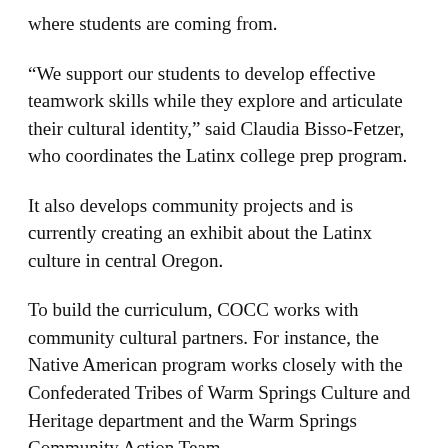where students are coming from.
“We support our students to develop effective teamwork skills while they explore and articulate their cultural identity,” said Claudia Bisso-Fetzer, who coordinates the Latinx college prep program.
It also develops community projects and is currently creating an exhibit about the Latinx culture in central Oregon.
To build the curriculum, COCC works with community cultural partners. For instance, the Native American program works closely with the Confederated Tribes of Warm Springs Culture and Heritage department and the Warm Springs Community Action Team.
All three college prep programs have a free, weeklong summertime camp-like option, where